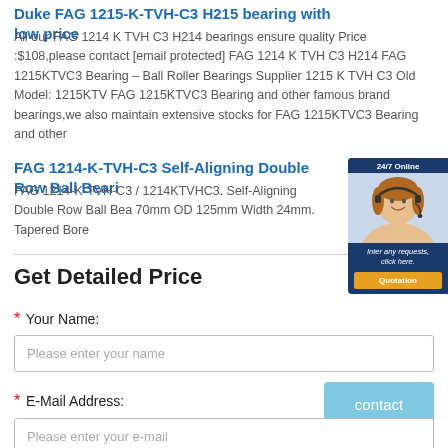Duke FAG 1215-K-TVH-C3 H215 bearing with low price
All our FAG 1214 K TVH C3 H214 bearings ensure quality Price :$108,please contact [email protected] FAG 1214 K TVH C3 H214 FAG 1215KTVC3 Bearing – Ball Roller Bearings Supplier 1215 K TVH C3 Old Model: 1215KTV FAG 1215KTVC3 Bearing and other famous brand bearings,we also maintain extensive stocks for FAG 1215KTVC3 Bearing and other
FAG 1214-K-TVH-C3 Self-Aligning Double Row Ball Beari
FAG 1214-K-TVH-C3 / 1214KTVHC3. Self-Aligning Double Row Ball Bea 70mm OD 125mm Width 24mm. Tapered Bore
[Figure (photo): Chat support widget with woman wearing headset, 24/7 Online label, Quotation button]
Get Detailed Price
* Your Name:
Please enter your name
* E-Mail Address:
Please enter your e-mail
contact